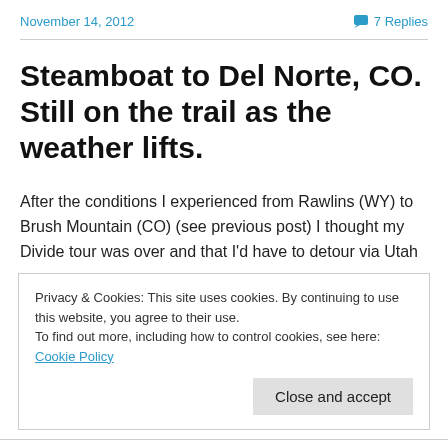November 14, 2012   7 Replies
Steamboat to Del Norte, CO. Still on the trail as the weather lifts.
After the conditions I experienced from Rawlins (WY) to Brush Mountain (CO) (see previous post) I thought my Divide tour was over and that I'd have to detour via Utah
Privacy & Cookies: This site uses cookies. By continuing to use this website, you agree to their use. To find out more, including how to control cookies, see here: Cookie Policy
Close and accept